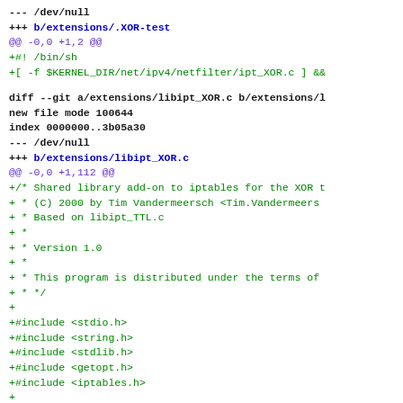--- /dev/null
+++ b/extensions/.XOR-test
@@ -0,0 +1,2 @@
+#! /bin/sh
+[ -f $KERNEL_DIR/net/ipv4/netfilter/ipt_XOR.c ] &&
diff --git a/extensions/libipt_XOR.c b/extensions/l
new file mode 100644
index 0000000..3b05a30
--- /dev/null
+++ b/extensions/libipt_XOR.c
@@ -0,0 +1,112 @@
+/* Shared library add-on to iptables for the XOR t
+ * (C) 2000 by Tim Vandermeersch <Tim.Vandermeers
+ * Based on libipt_TTL.c
+ *
+ * Version 1.0
+ *
+ * This program is distributed under the terms of
+ * */
+
+#include <stdio.h>
+#include <string.h>
+#include <stdlib.h>
+#include <getopt.h>
+#include <iptables.h>
+
+#include <linux/netfilter_ipv4/ip_tables.h>
+#include <linux/netfilter_ipv4/ipt_XOR.h>
+